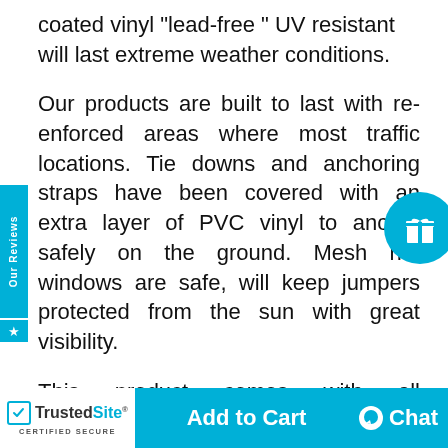coated vinyl "lead-free " UV resistant will last extreme weather conditions.
Our products are built to last with re-enforced areas where most traffic locations. Tie downs and anchoring straps have been covered with an extra layer of PVC vinyl to anchor safely on the ground. Mesh net windows are safe, will keep jumpers protected from the sun with great visibility.
This product comes with all accessories built in two intake tubes to place blower. Intakes have their own flap cover when not in use.
[Figure (other): Side tab reading 'Our Reviews' in white text on cyan background, rotated vertically on left edge]
[Figure (other): Cyan circular gift/present icon button on right side]
TrustedSite CERTIFIED SECURE | Add to Cart | Chat